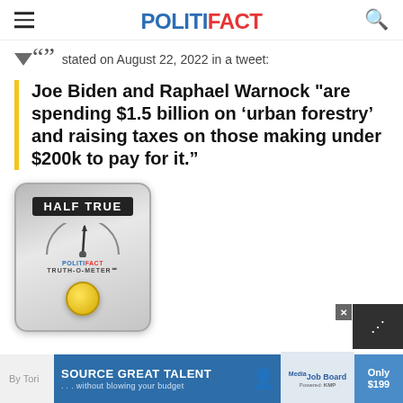POLITIFACT
stated on August 22, 2022 in a tweet:
Joe Biden and Raphael Warnock "are spending $1.5 billion on ‘urban forestry’ and raising taxes on those making under $200k to pay for it.”
[Figure (infographic): PolitiFact Truth-O-Meter showing HALF TRUE rating with a gauge meter graphic and yellow button at bottom]
By Tori ... SOURCE GREAT TALENT ... without blowing your budget | Media Job Board | Only $199